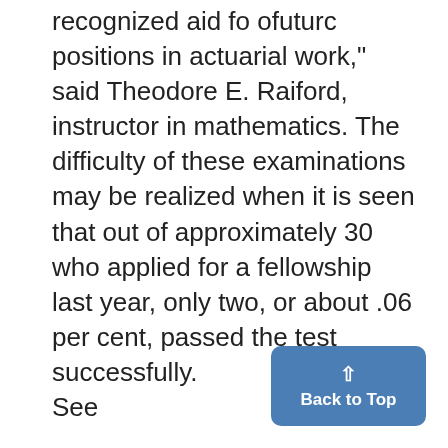recognized aid fo ofuturc positions in actuarial work," said Theodore E. Raiford, instructor in mathematics. The difficulty of these examinations may be realized when it is seen that out of approximately 30 who applied for a fellowship last year, only two, or about .06 per cent, passed the test successfully.
See

for

OFFICE SUPPLIES
302 S. State St.
.you want extra